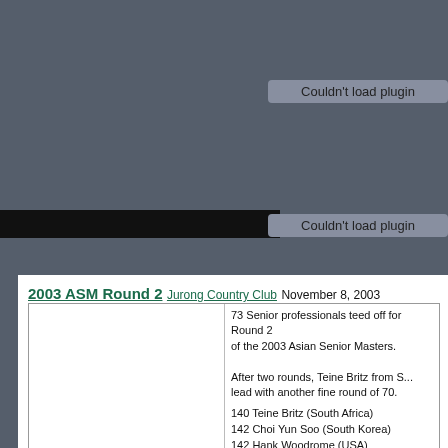2003 ASM Round 2
Jurong Country Club
November 8, 2003
73 Senior professionals teed off for Round 2 of the 2003 Asian Senior Masters.

After two rounds, Teine Britz from South Africa leads with another fine round of 70.
140 Teine Britz (South Africa)
142 Choi Yun Soo (South Korea)
142 Hank Woodrome (USA)
142 John Benda (USA)
142 John Irwin (Canada)
142 Mike Ferguson (Australia)
143 Alan Cooper (Australia)
143 Reynaldo Alit (Philippines)
143 Terry Gale (Australia)
144 Richard Beer (Australia)
144 Yoshio Fumiyama (Japan)
Photos left...